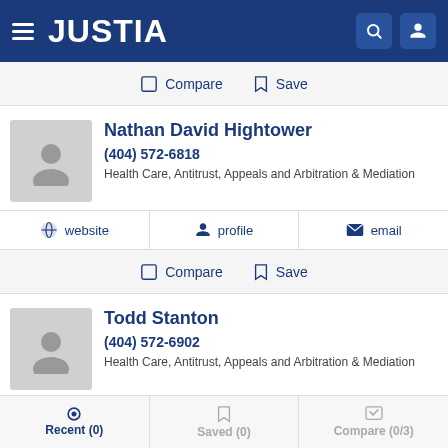JUSTIA
Compare   Save
Nathan David Hightower
(404) 572-6818
Health Care, Antitrust, Appeals and Arbitration & Mediation
website   profile   email
Compare   Save
Todd Stanton
(404) 572-6902
Health Care, Antitrust, Appeals and Arbitration & Mediation
Recent (0)   Saved (0)   Compare (0/3)